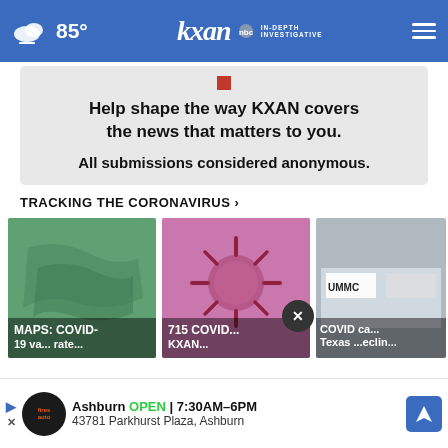85° KXAN IN-DEPTH INVESTIGATIVE
[Figure (screenshot): Survey card reading: Help shape the way KXAN covers the news that matters to you. All submissions considered anonymous.]
TRACKING THE CORONAVIRUS ›
[Figure (photo): Green-tinted map card with text: MAPS: COVID-19 va... rate...]
[Figure (photo): Pink coronavirus particle image with text: 715 COVID... KXAN...]
[Figure (photo): Partial image showing UMMC sign with text: COVID ca... Texas ...eclinin...]
[Figure (screenshot): Ad banner: Ashburn OPEN 7:30AM–6PM, 43781 Parkhurst Plaza, Ashburn]